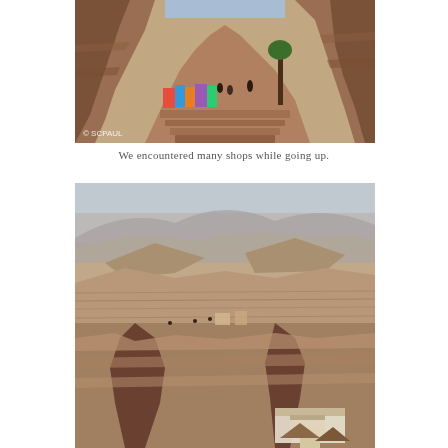[Figure (photo): A narrow desert canyon passage (Petra, Jordan) with colorful market stalls selling textiles on the left side, people walking, tall pink sandstone cliffs on both sides. Watermark '© SCPAUL' in bottom left corner.]
We encountered many shops while going up.
[Figure (photo): A wide panoramic view of Petra's rocky desert landscape with layered sandstone formations, ancient ruins visible in the distance, hazy mountains in the background, and market stalls or structures at the bottom right.]